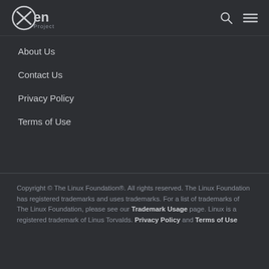Xen Project [logo] | search icon | menu icon
About Us
Contact Us
Privacy Policy
Terms of Use
Copyright © The Linux Foundation®. All rights reserved. The Linux Foundation has registered trademarks and uses trademarks. For a list of trademarks of The Linux Foundation, please see our Trademark Usage page. Linux is a registered trademark of Linus Torvalds. Privacy Policy and Terms of Use